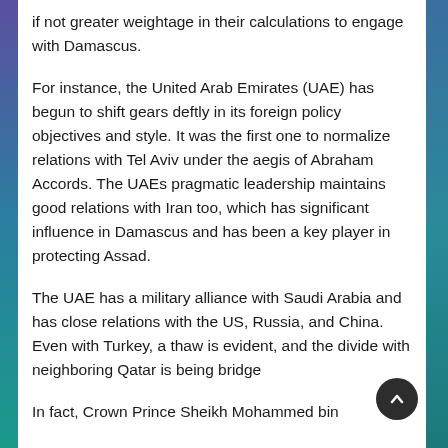if not greater weightage in their calculations to engage with Damascus.
For instance, the United Arab Emirates (UAE) has begun to shift gears deftly in its foreign policy objectives and style. It was the first one to normalize relations with Tel Aviv under the aegis of Abraham Accords. The UAEs pragmatic leadership maintains good relations with Iran too, which has significant influence in Damascus and has been a key player in protecting Assad.
The UAE has a military alliance with Saudi Arabia and has close relations with the US, Russia, and China. Even with Turkey, a thaw is evident, and the divide with neighboring Qatar is being bridge
In fact, Crown Prince Sheikh Mohammed bin